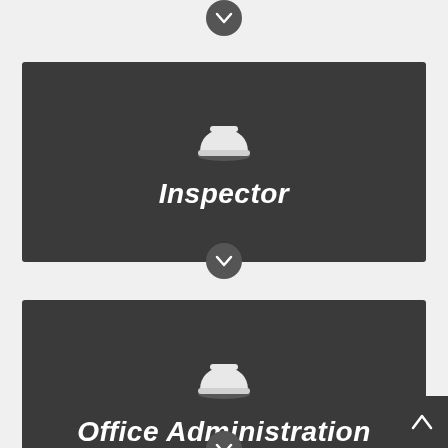[Figure (infographic): Dark grey card with white hard hat icon and bold italic white text reading 'Inspector'. A dark circular chevron-down button appears at the bottom center of the card.]
[Figure (infographic): Dark grey card with white hard hat icon and bold italic white text reading 'Office Administration'. A dark circular chevron-down button appears at the bottom center of the card. A dark up-arrow button appears at the bottom right corner of the page.]